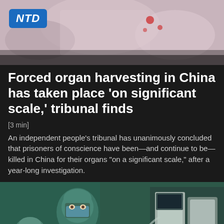[Figure (photo): NTD news logo overlay on a blurred surgical/medical background image showing what appears to be a surgery scene with white clothing and red spots]
Forced organ harvesting in China has taken place ‘on significant scale,’ tribunal finds
[3 min]
An independent people’s tribunal has unanimously concluded that prisoners of conscience have been—and continue to be—killed in China for their organs “on a significant scale,” after a year-long investigation.
[Figure (photo): Medical surgeons in green scrubs, surgical caps, and blue face masks working in an operating room with medical equipment visible on the right side]